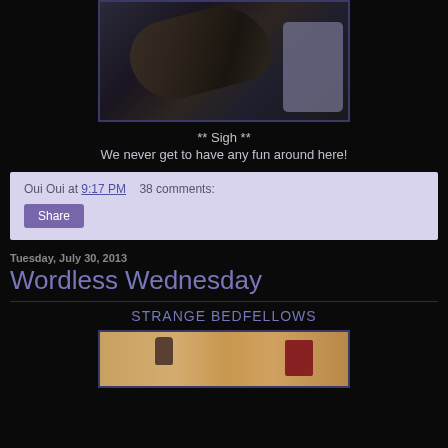[Figure (photo): Person lying in bed, hair visible, dark room]
** Sigh **
We never get to have any fun around here!
Oui Oui at 9:17 PM    38 comments:
Share
Tuesday, July 30, 2013
Wordless Wednesday
STRANGE BEDFELLOWS
[Figure (photo): Cat and objects on a wooden surface or shelf]